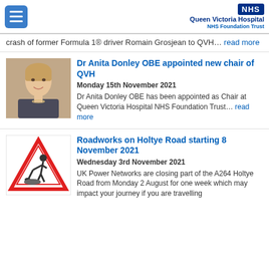NHS Queen Victoria Hospital NHS Foundation Trust
crash of former Formula 1® driver Romain Grosjean to QVH… read more
Dr Anita Donley OBE appointed new chair of QVH
Monday 15th November 2021
Dr Anita Donley OBE has been appointed as Chair at Queen Victoria Hospital NHS Foundation Trust… read more
Roadworks on Holtye Road starting 8 November 2021
Wednesday 3rd November 2021
UK Power Networks are closing part of the A264 Holtye Road from Monday 2 August for one week which may impact your journey if you are travelling